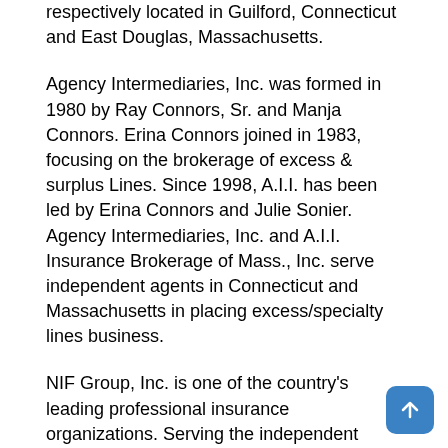respectively located in Guilford, Connecticut and East Douglas, Massachusetts.
Agency Intermediaries, Inc. was formed in 1980 by Ray Connors, Sr. and Manja Connors. Erina Connors joined in 1983, focusing on the brokerage of excess & surplus Lines. Since 1998, A.I.I. has been led by Erina Connors and Julie Sonier. Agency Intermediaries, Inc. and A.I.I. Insurance Brokerage of Mass., Inc. serve independent agents in Connecticut and Massachusetts in placing excess/specialty lines business.
NIF Group, Inc. is one of the country's leading professional insurance organizations. Serving the independent agent community as a national program administrator, regional general agent, surplus lines broker and specialty insurance Intermediary, with offices located on the east and west coasts of the U.S. NIF has been serving agents & brokers since 1976; they were successfully acquired by JenCap Holdings in December of 2016.
Mark R. Maher, President of NIF Group, Inc. stated that